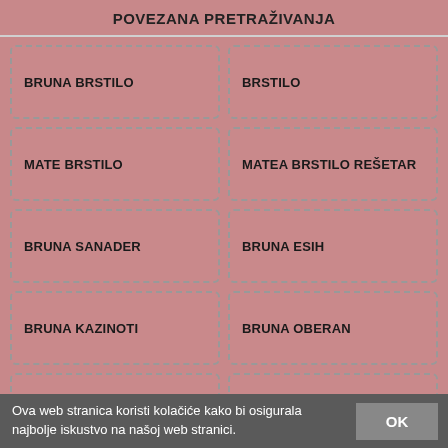POVEZANA PRETRAŽIVANJA
BRUNA BRSTILO
BRSTILO
MATE BRSTILO
MATEA BRSTILO REŠETAR
BRUNA SANADER
BRUNA ESIH
BRUNA KAZINOTI
BRUNA OBERAN
ESIH BRUNA
BRUNA CAREV
BRUNA BEBIĆ
BRUNA ESIH RAZVOD
BRUNA KUNTIĆ MAKVIĆ
BRUNA ESIH STRANKA
BRUNA ESIH DJECA
Ova web stranica koristi kolačiće kako bi osigurala najbolje iskustvo na našoj web stranici.